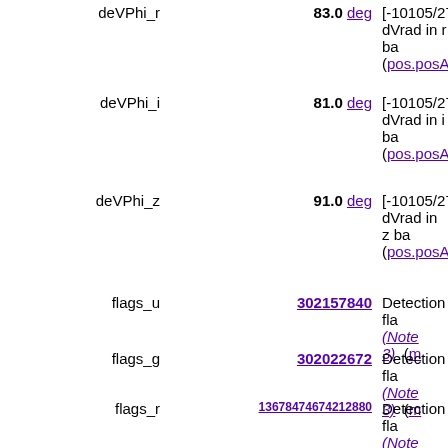| Name | Value | Description |
| --- | --- | --- |
| deVPhi_r | 83.0 deg | [-10105/271] dVrad in r band (pos.posAng) |
| deVPhi_i | 81.0 deg | [-10105/271] dVrad in i band (pos.posAng) |
| deVPhi_z | 91.0 deg | [-10105/271] dVrad in z band (pos.posAng) |
| flags_u | 302157840 | Detection flags (Note 3) (m) |
| flags_g | 302022672 | Detection flags (Note 3) (m) |
| flags_r | 13678474674212880 | Detection flags (Note 3) (m) |
| flags_i | 302022672 | Detection flags (Note 3) (m) |
| flags_z | 302022672 | Detection flags (Note 3) (m) |
| type_u | 6 | [0/8] Phototy 3=galaxy) (ty (src.class.st |
| type_g | 6 | [0/8] Phototy |